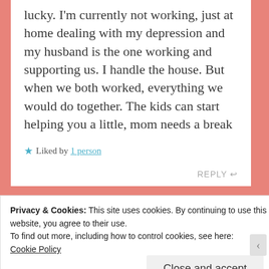lucky. I'm currently not working, just at home dealing with my depression and my husband is the one working and supporting us. I handle the house. But when we both worked, everything we would do together. The kids can start helping you a little, mom needs a break
★ Liked by 1 person
REPLY ↩
Privacy & Cookies: This site uses cookies. By continuing to use this website, you agree to their use.
To find out more, including how to control cookies, see here:
Cookie Policy
Close and accept